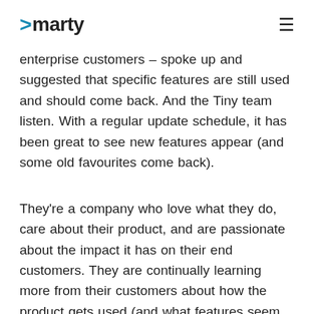>marty
enterprise customers – spoke up and suggested that specific features are still used and should come back. And the Tiny team listen. With a regular update schedule, it has been great to see new features appear (and some old favourites come back).
They're a company who love what they do, care about their product, and are passionate about the impact it has on their end customers. They are continually learning more from their customers about how the product gets used (and what features seem unused but are actually pivotal to some author workflows) and continuing to evolve